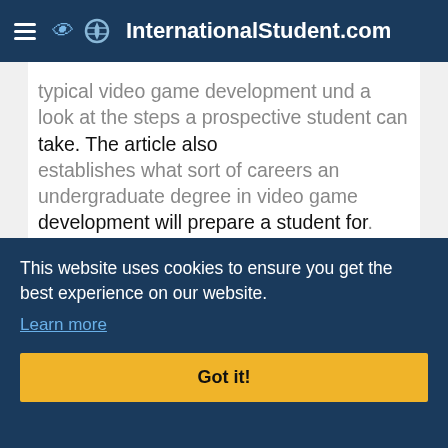InternationalStudent.com
For international students who have decided to pursue an undergraduate degree in video game development, there are a number of considerations to keep in mind. This article offers an overview of a typical video game development undergraduate degree and a look at the steps a prospective student can take. The article also establishes what sort of careers an undergraduate degree in video game development will prepare a student for.